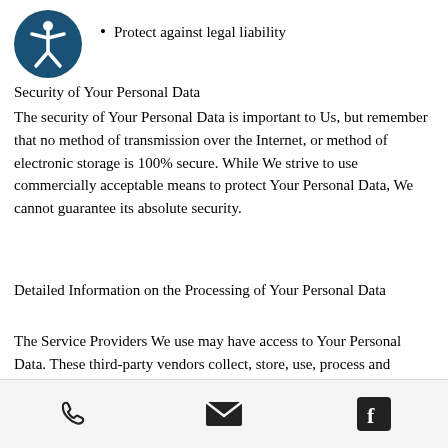[Figure (logo): Accessibility icon: white stick figure in a circle on dark teal/blue background]
Protect against legal liability
Security of Your Personal Data
The security of Your Personal Data is important to Us, but remember that no method of transmission over the Internet, or method of electronic storage is 100% secure. While We strive to use commercially acceptable means to protect Your Personal Data, We cannot guarantee its absolute security.
Detailed Information on the Processing of Your Personal Data
The Service Providers We use may have access to Your Personal Data. These third-party vendors collect, store, use, process and transfer information about Your activity on Our Service in accordance with their
Phone | Email | Facebook